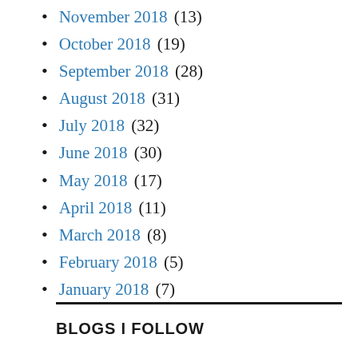November 2018 (13)
October 2018 (19)
September 2018 (28)
August 2018 (31)
July 2018 (32)
June 2018 (30)
May 2018 (17)
April 2018 (11)
March 2018 (8)
February 2018 (5)
January 2018 (7)
BLOGS I FOLLOW